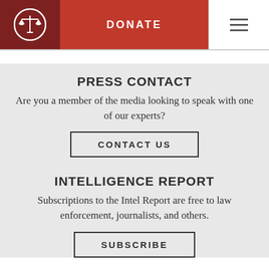[Figure (logo): Navigation header bar with a scales-of-justice logo on dark red background, a red DONATE button, and a hamburger menu icon]
PRESS CONTACT
Are you a member of the media looking to speak with one of our experts?
CONTACT US
INTELLIGENCE REPORT
Subscriptions to the Intel Report are free to law enforcement, journalists, and others.
SUBSCRIBE